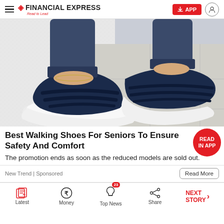FINANCIAL EXPRESS Read to Lead
[Figure (photo): Close-up photo of a person's feet wearing navy blue walking shoes/sandals with velcro straps and white soles, on a tiled floor with white fluffy rug in background]
Best Walking Shoes For Seniors To Ensure Safety And Comfort
The promotion ends as soon as the reduced models are sold out.
New Trend | Sponsored
Latest  Money  Top News  Share  NEXT STORY